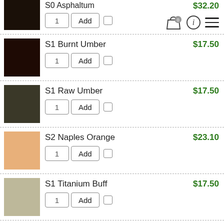S0 Asphaltum – $32.20 (partial, top of page), quantity 1, Add button, checkbox
S1 Burnt Umber – $17.50, quantity 1, Add button, checkbox
S1 Raw Umber – $17.50, quantity 1, Add button, checkbox
S2 Naples Orange – $23.10, quantity 1, Add button, checkbox
S1 Titanium Buff – $17.50, quantity 1, Add button, checkbox
S2 Portland Warm Grey – $23.10, quantity 1, Add button, checkbox